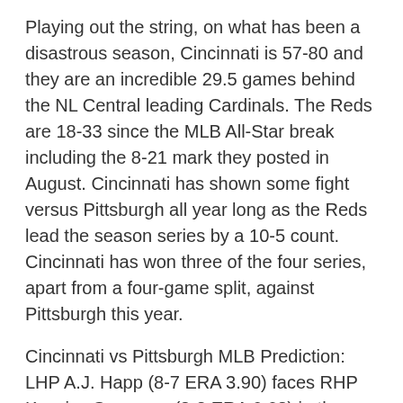Playing out the string, on what has been a disastrous season, Cincinnati is 57-80 and they are an incredible 29.5 games behind the NL Central leading Cardinals. The Reds are 18-33 since the MLB All-Star break including the 8-21 mark they posted in August. Cincinnati has shown some fight versus Pittsburgh all year long as the Reds lead the season series by a 10-5 count. Cincinnati has won three of the four series, apart from a four-game split, against Pittsburgh this year.
Cincinnati vs Pittsburgh MLB Prediction: LHP A.J. Happ (8-7 ERA 3.90) faces RHP Keyvius Sampson (2-3 ERA 6.68) in the battle on the bump tonight. Happ is on a huge roll as he has allowed just two runs, over 30 innings pitched, during his last five starts which all resulted in Pittsburgh wins. Sampson has had a rough rookie start as he as allowed 24 runs over 31 innings during his eight appearances this year. Back the Buccos with a 500 unit wager on the run line price posted at SportsInteraction. Click the odds image below for